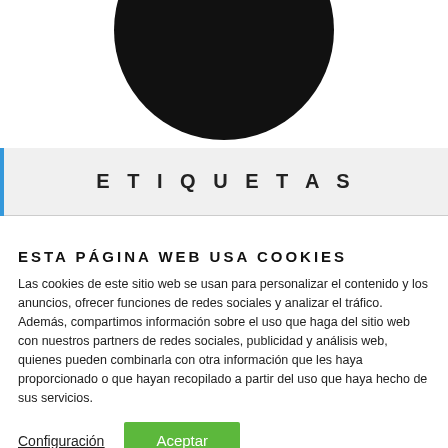[Figure (logo): Black circle logo with white text 'www.futboldebahquillo.com' visible at top]
ETIQUETAS
ESTA PÁGINA WEB USA COOKIES
Las cookies de este sitio web se usan para personalizar el contenido y los anuncios, ofrecer funciones de redes sociales y analizar el tráfico. Además, compartimos información sobre el uso que haga del sitio web con nuestros partners de redes sociales, publicidad y análisis web, quienes pueden combinarla con otra información que les haya proporcionado o que hayan recopilado a partir del uso que haya hecho de sus servicios.
Configuración | Aceptar